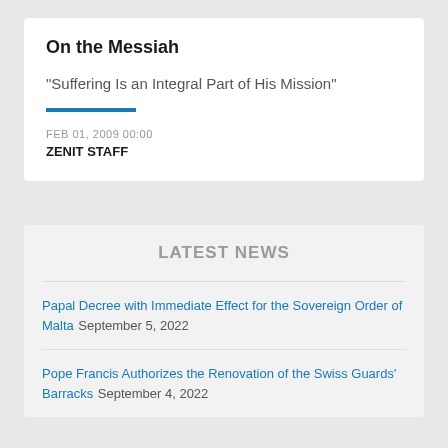On the Messiah
“Suffering Is an Integral Part of His Mission”
FEB 01, 2009 00:00
ZENIT STAFF
LATEST NEWS
Papal Decree with Immediate Effect for the Sovereign Order of Malta September 5, 2022
Pope Francis Authorizes the Renovation of the Swiss Guards’ Barracks September 4, 2022